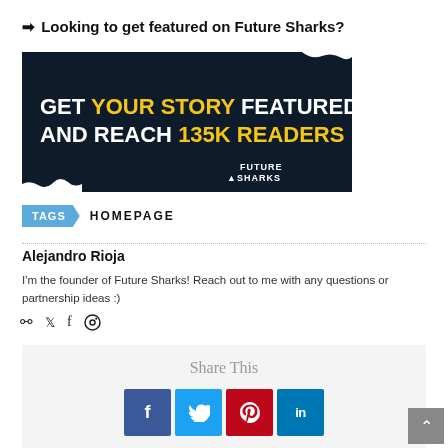➡ Looking to get featured on Future Sharks?
[Figure (illustration): Dark navy banner ad with wavy edges reading 'GET YOUR STORY FEATURED AND REACH 135K READERS' with Future Sharks logo]
TAGS  HOMEPAGE
Alejandro Rioja
I'm the founder of Future Sharks! Reach out to me with any questions or partnership ideas :)
[Figure (infographic): Social media icons: link, twitter, facebook, instagram]
Share This
[Figure (infographic): Share buttons: Facebook (f), Twitter bird, Pinterest (p), LinkedIn (in)]